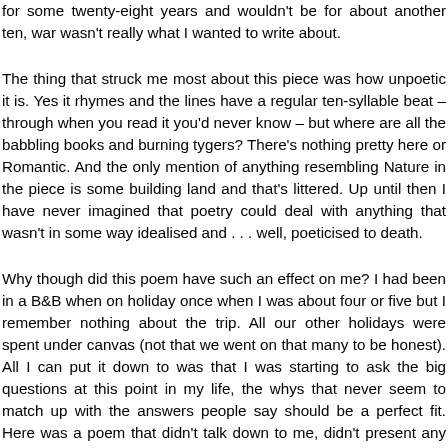for some twenty-eight years and wouldn't be for about another ten, war wasn't really what I wanted to write about.
The thing that struck me most about this piece was how unpoetic it is. Yes it rhymes and the lines have a regular ten-syllable beat – through when you read it you'd never know – but where are all the babbling books and burning tygers? There's nothing pretty here or Romantic. And the only mention of anything resembling Nature in the piece is some building land and that's littered. Up until then I have never imagined that poetry could deal with anything that wasn't in some way idealised and . . . well, poeticised to death.
Why though did this poem have such an effect on me? I had been in a B&B when on holiday once when I was about four or five but I remember nothing about the trip. All our other holidays were spent under canvas (not that we went on that many to be honest). All I can put it down to was that I was starting to ask the big questions at this point in my life, the whys that never seem to match up with the answers people say should be a perfect fit. Here was a poem that didn't talk down to me, didn't present any fake answer. Larkin told it how he saw it. I imagine he had read Nietzsche by this point